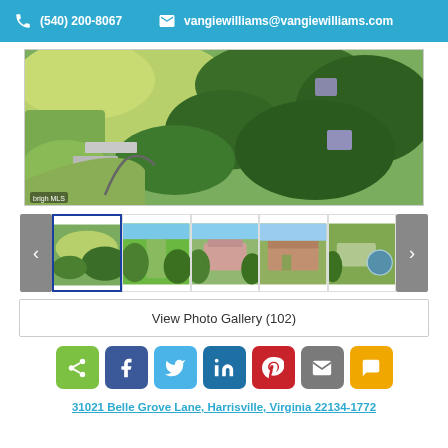(540) 200-8067 | vangiewilliams@vangiewilliams.com
[Figure (photo): Aerial drone photo of rural property with green fields, trees, and farm buildings]
[Figure (photo): Thumbnail carousel with 5 property photos: aerial view (selected/active), driveway view, house front, house aerial, house with pond]
View Photo Gallery (102)
Social share buttons: share, Facebook, Twitter, LinkedIn, Pinterest, email, SMS
31021 Belle Grove Lane, Harrisville, Virginia 22134-1772